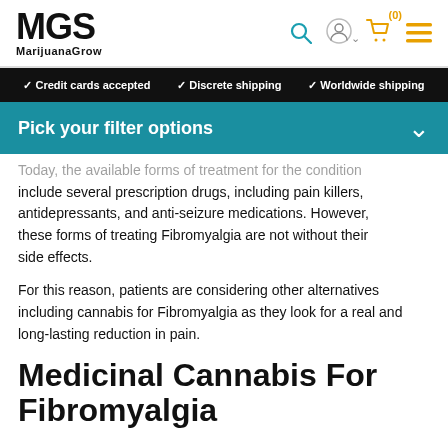MGS MarijuanaGrow — site header with navigation icons
✓ Credit cards accepted   ✓ Discrete shipping   ✓ Worldwide shipping
Pick your filter options
Today, the available forms of treatment for the condition include several prescription drugs, including pain killers, antidepressants, and anti-seizure medications. However, these forms of treating Fibromyalgia are not without their side effects.
For this reason, patients are considering other alternatives including cannabis for Fibromyalgia as they look for a real and long-lasting reduction in pain.
Medicinal Cannabis For Fibromyalgia